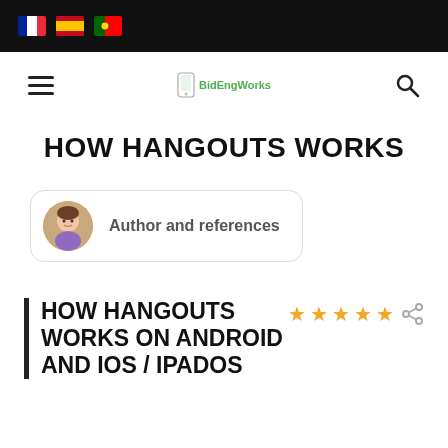Flag icons: French, Spanish, Portuguese
[Figure (screenshot): Navigation bar with hamburger menu, BidEngWorks logo with phone icon, and search icon]
HOW HANGOUTS WORKS
[Figure (illustration): Author avatar (girl emoji) with label: Author and references]
HOW HANGOUTS WORKS ON ANDROID AND IOS / IPADOS